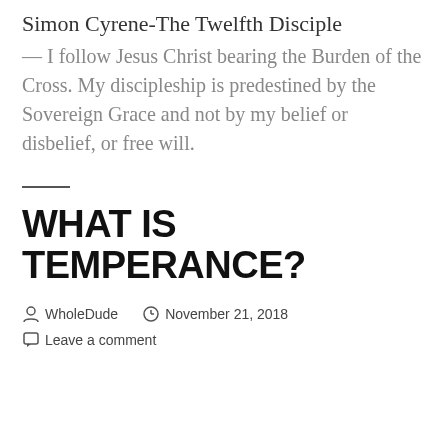Simon Cyrene-The Twelfth Disciple
— I follow Jesus Christ bearing the Burden of the Cross. My discipleship is predestined by the Sovereign Grace and not by my belief or disbelief, or free will.
WHAT IS TEMPERANCE?
WholeDude   November 21, 2018
Leave a comment